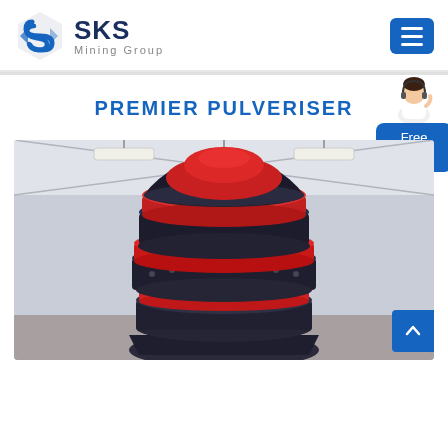[Figure (logo): SKS Mining Group logo with blue hexagonal S icon and text 'SKS Mining Group']
PREMIER PULVERISER
[Figure (photo): Close-up photo of a large industrial premier pulveriser machine with red and dark blue/black layered disc sections, taken inside a factory/warehouse with fluorescent lighting and high ceilings.]
[Figure (illustration): Customer service representative avatar for 'Free chat' widget in upper right corner]